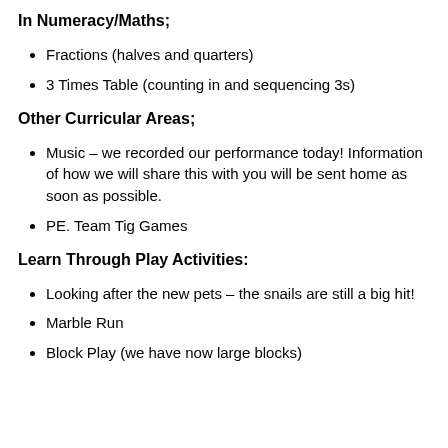In Numeracy/Maths;
Fractions (halves and quarters)
3 Times Table (counting in and sequencing 3s)
Other Curricular Areas;
Music – we recorded our performance today! Information of how we will share this with you will be sent home as soon as possible.
PE. Team Tig Games
Learn Through Play Activities:
Looking after the new pets – the snails are still a big hit!
Marble Run
Block Play (we have now large blocks)